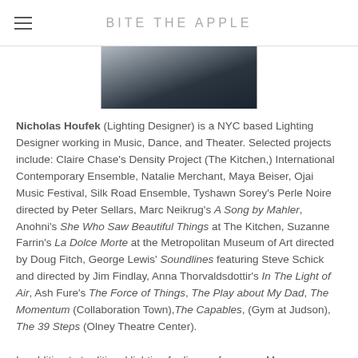BITE THE APPLE
[Figure (photo): Partial photo of a person, cropped at top, dark background]
Nicholas Houfek (Lighting Designer) is a NYC based Lighting Designer working in Music, Dance, and Theater. Selected projects include: Claire Chase's Density Project (The Kitchen,) International Contemporary Ensemble, Natalie Merchant, Maya Beiser, Ojai Music Festival, Silk Road Ensemble, Tyshawn Sorey's Perle Noire directed by Peter Sellars, Marc Neikrug's A Song by Mahler, Anohni's She Who Saw Beautiful Things at The Kitchen, Suzanne Farrin's La Dolce Morte at the Metropolitan Museum of Art directed by Doug Fitch, George Lewis' Soundlines featuring Steve Schick and directed by Jim Findlay, Anna Thorvaldsdottir's In The Light of Air, Ash Fure's The Force of Things, The Play about My Dad, The Momentum (Collaboration Town), The Capables, (Gym at Judson), The 39 Steps (Olney Theatre Center).
In addition to traditional lighting for live performance Mr.